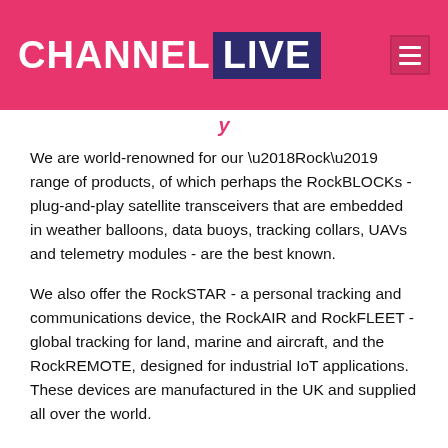CHANNEL LIVE
We are world-renowned for our ‘Rock’ range of products, of which perhaps the RockBLOCKs - plug-and-play satellite transceivers that are embedded in weather balloons, data buoys, tracking collars, UAVs and telemetry modules - are the best known.
We also offer the RockSTAR - a personal tracking and communications device, the RockAIR and RockFLEET - global tracking for land, marine and aircraft, and the RockREMOTE, designed for industrial IoT applications. These devices are manufactured in the UK and supplied all over the world.
Working with leading manufacturers like Iridium, Inmarsat, Cobham, Thales and Hughes, we ensure that we have products and services to meet the varied requirements of our customers. In every case, whether it’s our proprietary solutions or products we resell ourselves, we are able to offer partners pricing options that allow you to sell on these solutions and make a